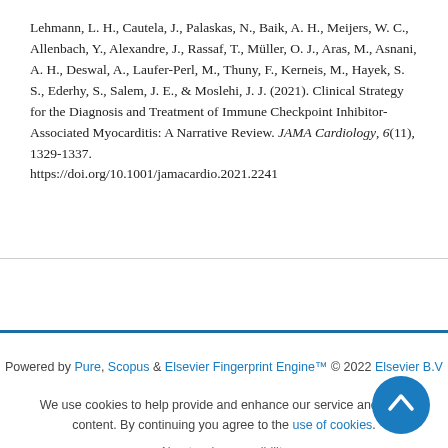Lehmann, L. H., Cautela, J., Palaskas, N., Baik, A. H., Meijers, W. C., Allenbach, Y., Alexandre, J., Rassaf, T., Müller, O. J., Aras, M., Asnani, A. H., Deswal, A., Laufer-Perl, M., Thuny, F., Kerneis, M., Hayek, S. S., Ederhy, S., Salem, J. E., & Moslehi, J. J. (2021). Clinical Strategy for the Diagnosis and Treatment of Immune Checkpoint Inhibitor-Associated Myocarditis: A Narrative Review. JAMA Cardiology, 6(11), 1329-1337. https://doi.org/10.1001/jamacardio.2021.2241
Powered by Pure, Scopus & Elsevier Fingerprint Engine™ © 2022 Elsevier B.V
We use cookies to help provide and enhance our service and tailor content. By continuing you agree to the use of cookies
About web accessibility